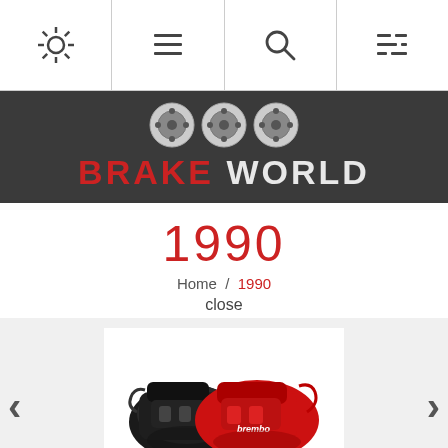Navigation bar with settings, menu, search, and filter icons
[Figure (logo): Brake World logo with three brake disc icons above the text BRAKE WORLD on dark grey background. BRAKE in red, WORLD in light grey.]
1990
Home / 1990
close
[Figure (photo): Two brake calipers side by side — one black and one red (Brembo branded), on a white background, displayed in a carousel with left and right navigation arrows.]
Calipers